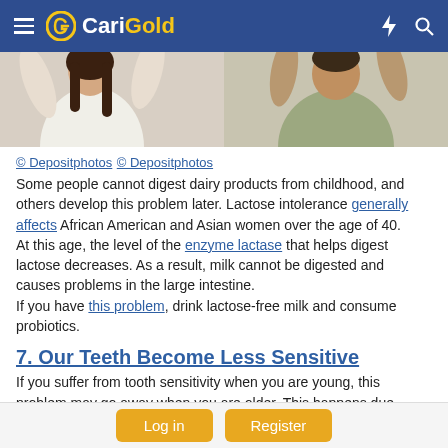CariGold
[Figure (photo): Two photos side by side of people, cropped to show upper bodies. Left photo shows a woman in a white top with arms raised. Right photo shows a man in a light shirt.]
© Depositphotos © Depositphotos
Some people cannot digest dairy products from childhood, and others develop this problem later. Lactose intolerance generally affects African American and Asian women over the age of 40.
At this age, the level of the enzyme lactase that helps digest lactose decreases. As a result, milk cannot be digested and causes problems in the large intestine.
If you have this problem, drink lactose-free milk and consume probiotics.
7. Our Teeth Become Less Sensitive
If you suffer from tooth sensitivity when you are young, this problem may go away when you are older. This happens due
Log in   Register